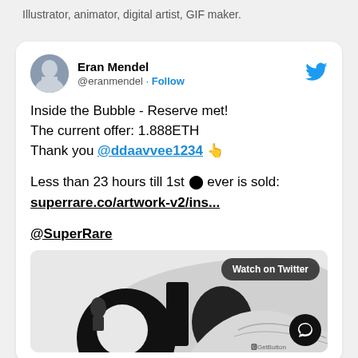Illustrator, animator, digital artist, GIF maker.
[Figure (screenshot): Tweet by Eran Mendel (@eranmendel) with Follow button and Twitter bird icon. Tweet text: Inside the Bubble - Reserve met! The current offer: 1.888ETH Thank you @ddaavvee1234 👆 Less than 23 hours till 1st ⬤ ever is sold: superrare.co/artwork-v2/ins... @SuperRare. Below is a media preview card with a Watch on Twitter button and black-and-white illustration artwork. A GetButton chat widget appears in the bottom right.]